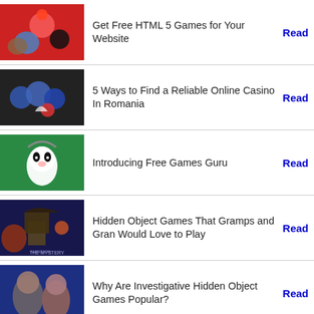Get Free HTML 5 Games for Your Website
5 Ways to Find a Reliable Online Casino In Romania
Introducing Free Games Guru
Hidden Object Games That Gramps and Gran Would Love to Play
Why Are Investigative Hidden Object Games Popular?
2 Games Where You Can Visit or Play as Israel
Is It Time for a New Contra Console Game?
Best Football Games on